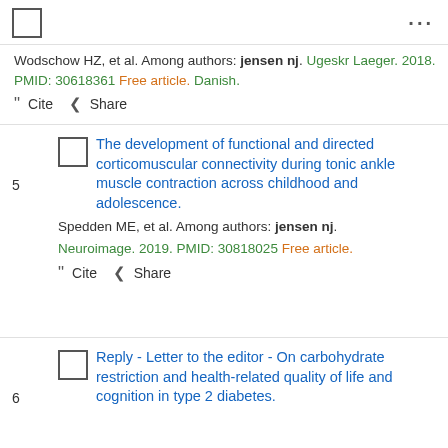☐ ...
Wodschow HZ, et al. Among authors: jensen nj. Ugeskr Laeger. 2018. PMID: 30618361 Free article. Danish.
" Cite < Share
The development of functional and directed corticomuscular connectivity during tonic ankle muscle contraction across childhood and adolescence.
Spedden ME, et al. Among authors: jensen nj. Neuroimage. 2019. PMID: 30818025 Free article.
" Cite < Share
Reply - Letter to the editor - On carbohydrate restriction and health-related quality of life and cognition in type 2 diabetes.